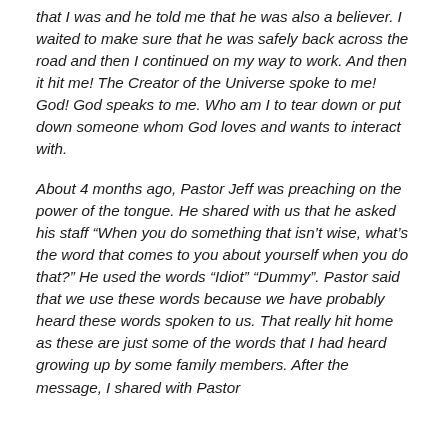that I was and he told me that he was also a believer. I waited to make sure that he was safely back across the road and then I continued on my way to work. And then it hit me! The Creator of the Universe spoke to me! God! God speaks to me. Who am I to tear down or put down someone whom God loves and wants to interact with.
About 4 months ago, Pastor Jeff was preaching on the power of the tongue. He shared with us that he asked his staff “When you do something that isn’t wise, what’s the word that comes to you about yourself when you do that?” He used the words “Idiot” “Dummy”. Pastor said that we use these words because we have probably heard these words spoken to us. That really hit home as these are just some of the words that I had heard growing up by some family members. After the message, I shared with Pastor